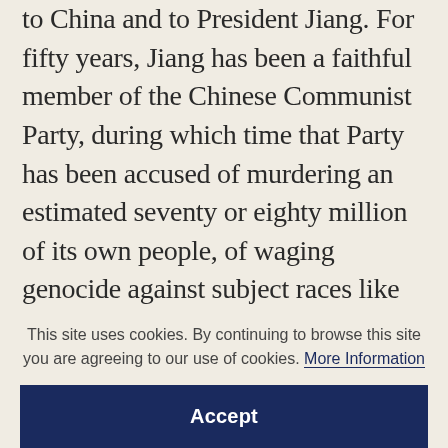to China and to President Jiang. For fifty years, Jiang has been a faithful member of the Chinese Communist Party, during which time that Party has been accused of murdering an estimated seventy or eighty million of its own people, of waging genocide against subject races like the Tibetans, and of attempting to wreck the world's oldest continuous civilisation. The astonishing thing is that nobody has much of a clue about what Jiang was doing or even where he was for much of that time. He has been China's leader for
This site uses cookies. By continuing to browse this site you are agreeing to our use of cookies. More Information
Accept